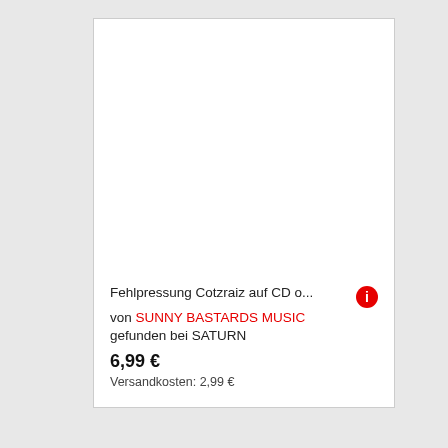Fehlpressung Cotzraiz auf CD o...
von SUNNY BASTARDS MUSIC
gefunden bei SATURN
6,99 €
Versandkosten: 2,99 €